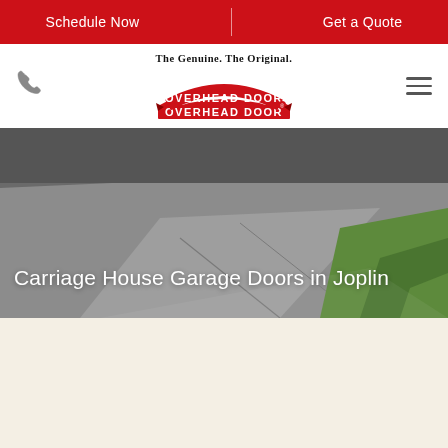Schedule Now | Get a Quote
[Figure (logo): Overhead Door logo with tagline 'The Genuine. The Original.' and red banner with white text 'OVERHEAD DOOR']
Carriage House Garage Doors in Joplin
[Figure (photo): Concrete driveway with green grass, hero banner image]